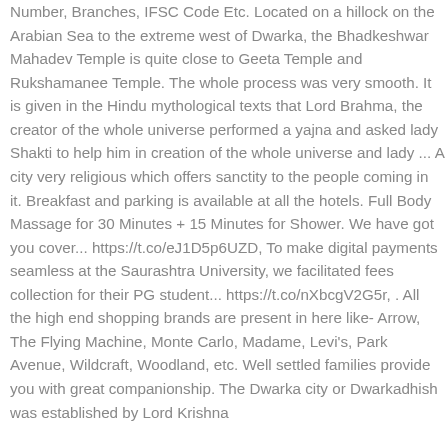Number, Branches, IFSC Code Etc. Located on a hillock on the Arabian Sea to the extreme west of Dwarka, the Bhadkeshwar Mahadev Temple is quite close to Geeta Temple and Rukshamanee Temple. The whole process was very smooth. It is given in the Hindu mythological texts that Lord Brahma, the creator of the whole universe performed a yajna and asked lady Shakti to help him in creation of the whole universe and lady ... A city very religious which offers sanctity to the people coming in it. Breakfast and parking is available at all the hotels. Full Body Massage for 30 Minutes + 15 Minutes for Shower. We have got you cover... https://t.co/eJ1D5p6UZD, To make digital payments seamless at the Saurashtra University, we facilitated fees collection for their PG student... https://t.co/nXbcgV2G5r, . All the high end shopping brands are present in here like- Arrow, The Flying Machine, Monte Carlo, Madame, Levi's, Park Avenue, Wildcraft, Woodland, etc. Well settled families provide you with great companionship. The Dwarka city or Dwarkadhish was established by Lord Krishna